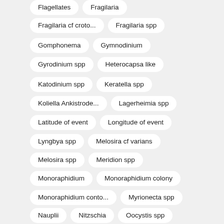Flagellates
Fragilaria
Fragilaria cf croto...
Fragilaria spp
Gomphonema
Gymnodinium
Gyrodinium spp
Heterocapsa like
Katodinium spp
Keratella spp
Koliella Ankistrode...
Lagerheimia spp
Latitude of event
Longitude of event
Lyngbya spp
Melosira cf varians
Melosira spp
Meridion spp
Monoraphidium
Monoraphidium colony
Monoraphidium conto...
Myrionecta spp
Nauplii
Nitzschia
Oocystis spp
Pediastrum boryanum
Pediastrum boryanum...
Pediastrum duplex
Pediastrum duplex v...